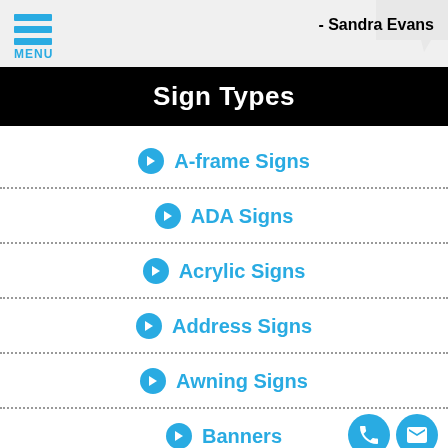MENU | - Sandra Evans
Sign Types
A-frame Signs
ADA Signs
Acrylic Signs
Address Signs
Awning Signs
Banners